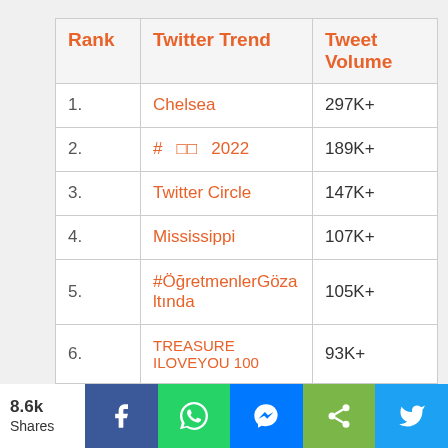| Rank | Twitter Trend | Tweet Volume |
| --- | --- | --- |
| 1. | Chelsea | 297K+ |
| 2. | # □□ 2022 | 189K+ |
| 3. | Twitter Circle | 147K+ |
| 4. | Mississippi | 107K+ |
| 5. | #ÖğretmenlerGözaltında | 105K+ |
| 6. | TREASURE ILOVEYOU100 | 93K+ |
8.6k Shares